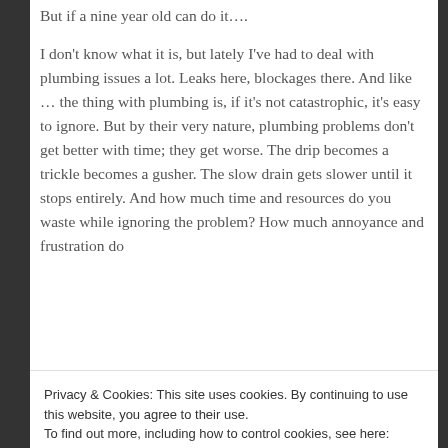But if a nine year old can do it….
I don't know what it is, but lately I've had to deal with plumbing issues a lot. Leaks here, blockages there. And like … the thing with plumbing is, if it's not catastrophic, it's easy to ignore. But by their very nature, plumbing problems don't get better with time; they get worse. The drip becomes a trickle becomes a gusher. The slow drain gets slower until it stops entirely. And how much time and resources do you waste while ignoring the problem? How much annoyance and frustration do
Privacy & Cookies: This site uses cookies. By continuing to use this website, you agree to their use.
To find out more, including how to control cookies, see here: Cookie Policy